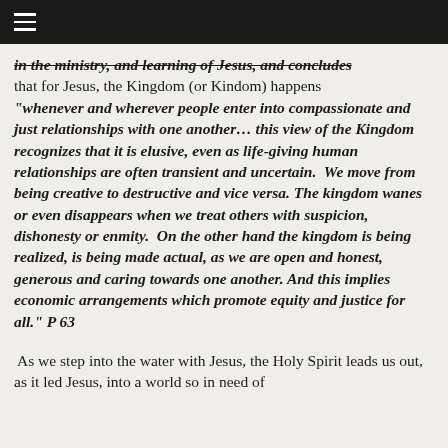≡ (hamburger menu icon in dark header bar)
in the ministry, and learning of Jesus, and concludes that for Jesus, the Kingdom (or Kindom) happens
"whenever and wherever people enter into compassionate and just relationships with one another... this view of the Kingdom recognizes that it is elusive, even as life-giving human relationships are often transient and uncertain.  We move from being creative to destructive and vice versa. The kingdom wanes or even disappears when we treat others with suspicion, dishonesty or enmity.  On the other hand the kingdom is being realized, is being made actual, as we are open and honest, generous and caring towards one another. And this implies economic arrangements which promote equity and justice for all." P 63
As we step into the water with Jesus, the Holy Spirit leads us out, as it led Jesus, into a world so in need of